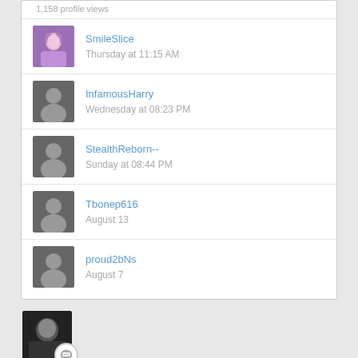1,158 profile views
SmileSlice
Thursday at 11:15 AM
InfamousHarry
Wednesday at 08:23 PM
StealthReborn--
Sunday at 08:44 PM
Tbonep616
August 13
proud2bNs
August 7
IT'S ON THIS GAME TOO!!! Otametal.... NOOOOO!
Auto Moonlight + Dan McR ... starring in YAKUZA KIWAMI 2